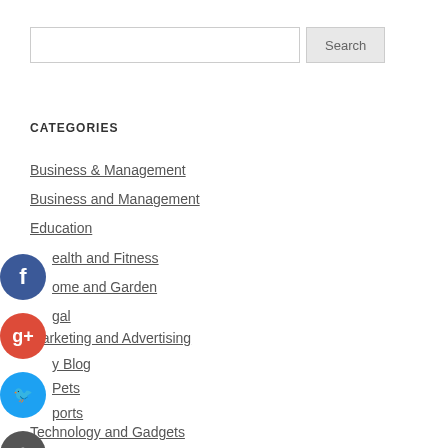CATEGORIES
Business & Management
Business and Management
Education
Health and Fitness
Home and Garden
Legal
Marketing and Advertising
My Blog
Pets
Sports
Technology and Gadgets
Travel and Leisure